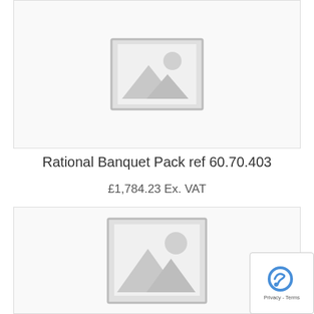[Figure (illustration): Placeholder image showing a grey image icon with mountain and sun, partial view at top of page, inside a bordered product card]
Rational Banquet Pack ref 60.70.403
£1,784.23 Ex. VAT
[Figure (illustration): Placeholder image showing a grey image icon with mountain and sun, inside a bordered product card]
[Figure (other): Privacy - Terms reCAPTCHA badge in the bottom right corner]